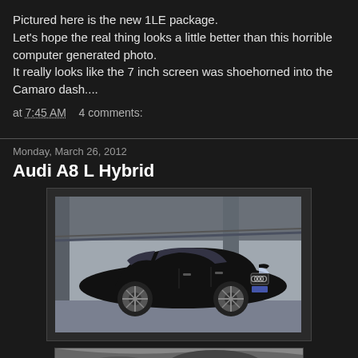Pictured here is the new 1LE package.
Let's hope the real thing looks a little better than this horrible computer generated photo.
It really looks like the 7 inch screen was shoehorned into the Camaro dash....
at 7:45 AM   4 comments:
Monday, March 26, 2012
Audi A8 L Hybrid
[Figure (photo): Black Audi A8 L Hybrid sedan parked in a covered parking structure, side profile view showing the front grille with Audi four-ring logo]
[Figure (photo): Partial view of another Audi image, cropped at bottom of page]